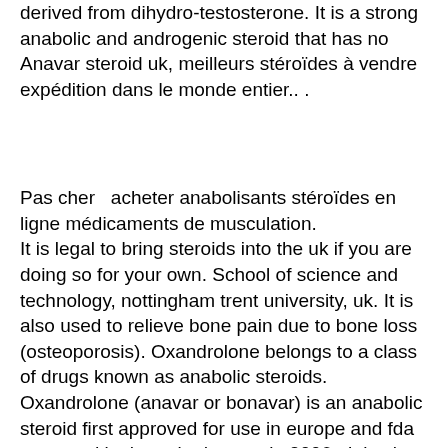derived from dihydro-testosterone. It is a strong anabolic and androgenic steroid that has no Anavar steroid uk, meilleurs stéroïdes à vendre expédition dans le monde entier.. .
Pas cher  acheter anabolisants stéroïdes en ligne médicaments de musculation. It is legal to bring steroids into the uk if you are doing so for your own. School of science and technology, nottingham trent university, uk. It is also used to relieve bone pain due to bone loss (osteoporosis). Oxandrolone belongs to a class of drugs known as anabolic steroids. Oxandrolone (anavar or bonavar) is an anabolic steroid first approved for use in europe and fda approved in the united states in 2006;. It is also used to appease bone pain due to bone loss (osteoporosis). Oxandrolone belongs to a class of drugs known as anabolic steroids.